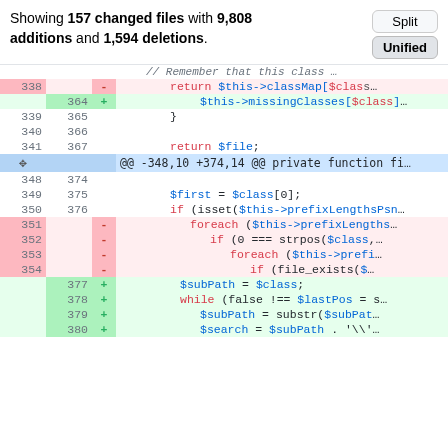Showing 157 changed files with 9,808 additions and 1,594 deletions.
[Figure (screenshot): GitHub diff view showing code changes with Split/Unified toggle buttons and unified diff lines with line numbers, deletion/addition markers, and syntax-highlighted PHP code]
| old | new | sign | code |
| --- | --- | --- | --- |
| 338 |  | - | return $this->classMap[$class |
|  | 364 | + | $this->missingClasses[$class] |
| 339 | 365 |  | } |
| 340 | 366 |  |  |
| 341 | 367 |  | return $file; |
|  |  | @@ -348,10 +374,14 @@ private function fi |  |
| 348 | 374 |  |  |
| 349 | 375 |  | $first = $class[0]; |
| 350 | 376 |  | if (isset($this->prefixLengthsPsn |
| 351 |  | - | foreach ($this->prefixLengths |
| 352 |  | - | if (0 === strpos($class, |
| 353 |  | - | foreach ($this->prefi |
| 354 |  | - | if (file_exists($ |
|  | 377 | + | $subPath = $class; |
|  | 378 | + | while (false !== $lastPos = s |
|  | 379 | + | $subPath = substr($subPat |
|  | 380 | + | $search = $subPath . '\' |